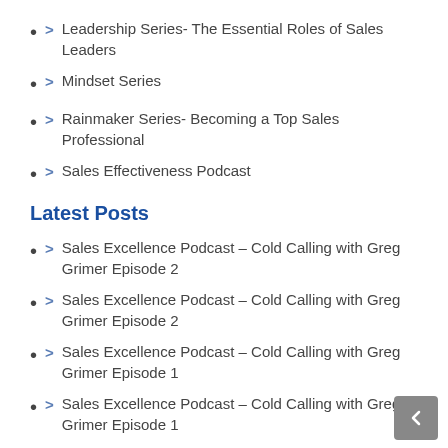> Leadership Series- The Essential Roles of Sales Leaders
> Mindset Series
> Rainmaker Series- Becoming a Top Sales Professional
> Sales Effectiveness Podcast
Latest Posts
> Sales Excellence Podcast – Cold Calling with Greg Grimer Episode 2
> Sales Excellence Podcast – Cold Calling with Greg Grimer Episode 2
> Sales Excellence Podcast – Cold Calling with Greg Grimer Episode 1
> Sales Excellence Podcast – Cold Calling with Greg Grimer Episode 1